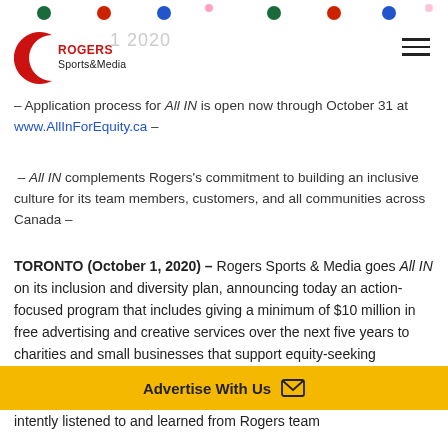[Figure (logo): Rogers Sports & Media logo — red crescent C with ROGERS in red and Sports&Media in black below]
- Application process for All IN is open now through October 31 at www.AllInForEquity.ca -
- All IN complements Rogers's commitment to building an inclusive culture for its team members, customers, and all communities across Canada -
TORONTO (October 1, 2020) – Rogers Sports & Media goes All IN on its inclusion and diversity plan, announcing today an action-focused program that includes giving a minimum of $10 million in free advertising and creative services over the next five years to charities and small businesses that support equity-seeking communities.
Advertise With Us
intently listened to and learned from Rogers team